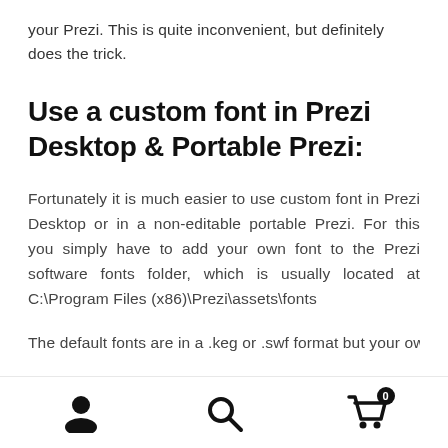your Prezi. This is quite inconvenient, but definitely does the trick.
Use a custom font in Prezi Desktop & Portable Prezi:
Fortunately it is much easier to use custom font in Prezi Desktop or in a non-editable portable Prezi. For this you simply have to add your own font to the Prezi software fonts folder, which is usually located at C:\Program Files (x86)\Prezi\assets\fonts
The default fonts are in a .keg or .swf format but your own
Navigation bar with user, search, and cart icons